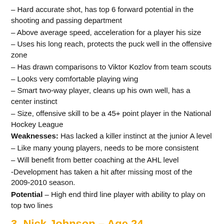– Hard accurate shot, has top 6 forward potential in the shooting and passing department
– Above average speed, acceleration for a player his size
– Uses his long reach, protects the puck well in the offensive zone
– Has drawn comparisons to Viktor Kozlov from team scouts
– Looks very comfortable playing wing
– Smart two-way player, cleans up his own well, has a center instinct
– Size, offensive skill to be a 45+ point player in the National Hockey League
Weaknesses: Has lacked a killer instinct at the junior A level
– Like many young players, needs to be more consistent
– Will benefit from better coaching at the AHL level
-Development has taken a hit after missing most of the 2009-2010 season.
Potential – High end third line player with ability to play on top two lines
3. Nick Johnson – Age 24